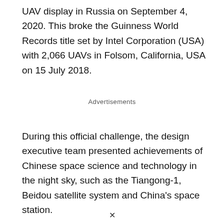UAV display in Russia on September 4, 2020. This broke the Guinness World Records title set by Intel Corporation (USA) with 2,066 UAVs in Folsom, California, USA on 15 July 2018.
Advertisements
During this official challenge, the design executive team presented achievements of Chinese space science and technology in the night sky, such as the Tiangong-1, Beidou satellite system and China's space station.